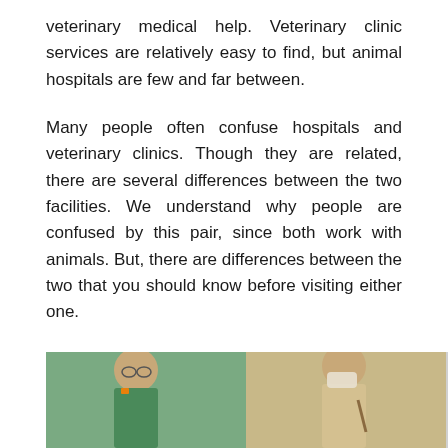veterinary medical help. Veterinary clinic services are relatively easy to find, but animal hospitals are few and far between.
Many people often confuse hospitals and veterinary clinics. Though they are related, there are several differences between the two facilities. We understand why people are confused by this pair, since both work with animals. But, there are differences between the two that you should know before visiting either one.
What It's Like to Visit Animal Hospitals and Veterinary Clinics
[Figure (photo): Photo of two people, likely veterinary professionals, one wearing green scrubs with glasses looking down, and another wearing a beige cardigan with a face mask.]